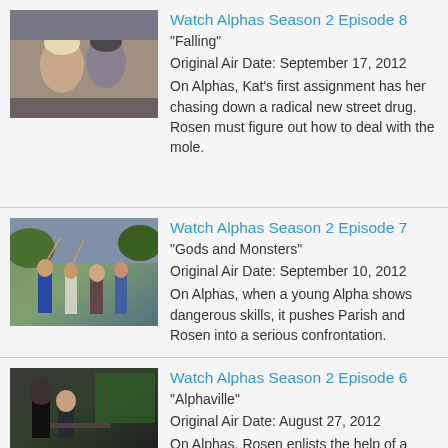[Figure (photo): Two people sitting and talking, appears to be a scene from Alphas TV show]
Watch Alphas Season 2 Episode 8
"Falling"
Original Air Date: September 17, 2012
On Alphas, Kat's first assignment has her chasing down a radical new street drug. Rosen must figure out how to deal with the mole.
[Figure (photo): Group of people outdoors looking up, scene from Alphas TV show]
Watch Alphas Season 2 Episode 7
"Gods and Monsters"
Original Air Date: September 10, 2012
On Alphas, when a young Alpha shows dangerous skills, it pushes Parish and Rosen into a serious confrontation.
[Figure (photo): Two people in a room, indoor scene from Alphas TV show]
Watch Alphas Season 2 Episode 6
"Alphaville"
Original Air Date: August 27, 2012
On Alphas, Rosen enlists the help of a tech wiz to uncover the presence of...